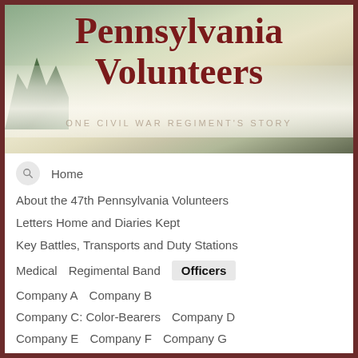Pennsylvania Volunteers
ONE CIVIL WAR REGIMENT'S STORY
Home
About the 47th Pennsylvania Volunteers
Letters Home and Diaries Kept
Key Battles, Transports and Duty Stations
Medical   Regimental Band   Officers
Company A   Company B
Company C: Color-Bearers   Company D
Company E   Company F   Company G
Company H   Company I   Company K